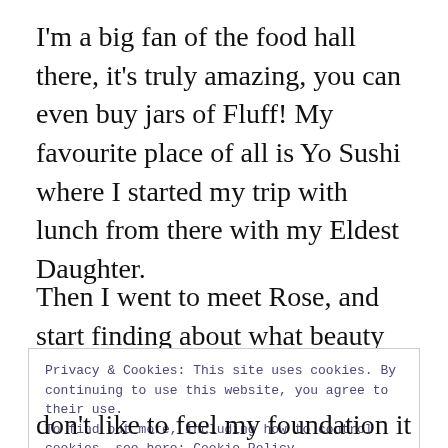I'm a big fan of the food hall there, it's truly amazing, you can even buy jars of Fluff! My favourite place of all is Yo Sushi where I started my trip with lunch from there with my Eldest Daughter.
Then I went to meet Rose, and start finding about what beauty products were on offer.
Privacy & Cookies: This site uses cookies. By continuing to use this website, you agree to their use. To find out more, including how to control cookies, see here: Cookie Policy
Close and accept
don't like to feel my foundation it has to be as